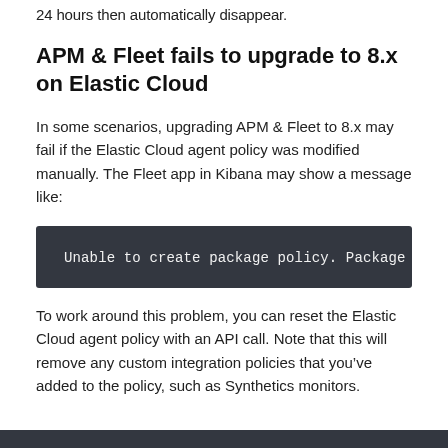24 hours then automatically disappear.
APM & Fleet fails to upgrade to 8.x on Elastic Cloud
In some scenarios, upgrading APM & Fleet to 8.x may fail if the Elastic Cloud agent policy was modified manually. The Fleet app in Kibana may show a message like:
Unable to create package policy. Package
To work around this problem, you can reset the Elastic Cloud agent policy with an API call. Note that this will remove any custom integration policies that you’ve added to the policy, such as Synthetics monitors.